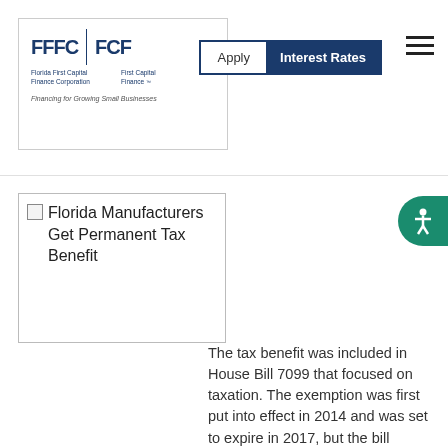Florida First Capital Finance Corporation / First Capital Finance — Apply | Interest Rates
[Figure (logo): FFFC | FCF Florida First Capital Finance Corporation / First Capital Finance logo with tagline 'Financing for Growing Small Businesses']
[Figure (photo): Florida Manufacturers Get Permanent Tax Benefit — article image placeholder]
The tax benefit was included in House Bill 7099 that focused on taxation. The exemption was first put into effect in 2014 and was set to expire in 2017, but the bill renewed the incentive as a permanent deal.
The exemption applies to industrial machinery and equipment purchased by manufacturing businesses to be used at a fixed location within Florida. To be eligible for the exemption, a business must be...